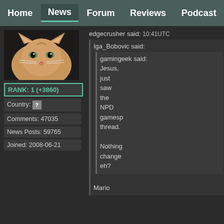Home | News | Forum | Reviews | Podcast
[Figure (photo): Cat avatar photo - orange and white cat looking at camera]
RANK: 1 (+3860)
Country: [?]
Comments: 47035
News Posts: 59765
Joined: 2008-06-21
edgecrusher said: 10:41UTC
Iga_Bobovic said:
gamingeek said:
Jesus, just saw the NPD gamesp thread. Nothing change eh?
Mario